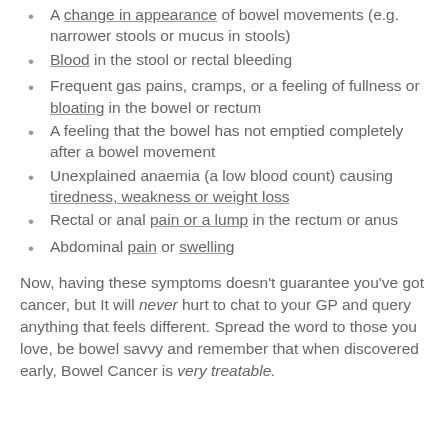A change in appearance of bowel movements (e.g. narrower stools or mucus in stools)
Blood in the stool or rectal bleeding
Frequent gas pains, cramps, or a feeling of fullness or bloating in the bowel or rectum
A feeling that the bowel has not emptied completely after a bowel movement
Unexplained anaemia (a low blood count) causing tiredness, weakness or weight loss
Rectal or anal pain or a lump in the rectum or anus
Abdominal pain or swelling
Now, having these symptoms doesn't guarantee you've got cancer, but It will never hurt to chat to your GP and query anything that feels different. Spread the word to those you love, be bowel savvy and remember that when discovered early, Bowel Cancer is very treatable.